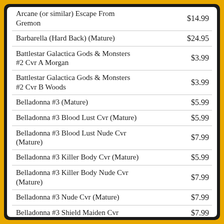| Item | Price |
| --- | --- |
| Arcane (or similar) Escape From Gremon | $14.99 |
| Barbarella (Hard Back) (Mature) | $24.95 |
| Battlestar Galactica Gods & Monsters #2 Cvr A Morgan | $3.99 |
| Battlestar Galactica Gods & Monsters #2 Cvr B Woods | $3.99 |
| Belladonna #3 (Mature) | $5.99 |
| Belladonna #3 Blood Lust Cvr (Mature) | $5.99 |
| Belladonna #3 Blood Lust Nude Cvr (Mature) | $7.99 |
| Belladonna #3 Killer Body Cvr (Mature) | $5.99 |
| Belladonna #3 Killer Body Nude Cvr (Mature) | $7.99 |
| Belladonna #3 Nude Cvr (Mature) | $7.99 |
| Belladonna #3 Shield Maiden Cvr | $7.99 |